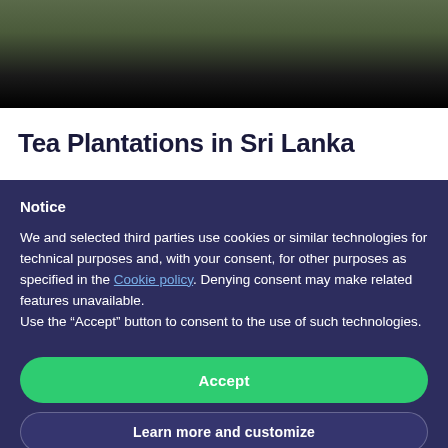[Figure (photo): Partial photo of people at a tea plantation in Sri Lanka, darkened at the bottom]
Tea Plantations in Sri Lanka
Notice
We and selected third parties use cookies or similar technologies for technical purposes and, with your consent, for other purposes as specified in the Cookie policy. Denying consent may make related features unavailable.
Use the “Accept” button to consent to the use of such technologies.
Accept
Learn more and customize